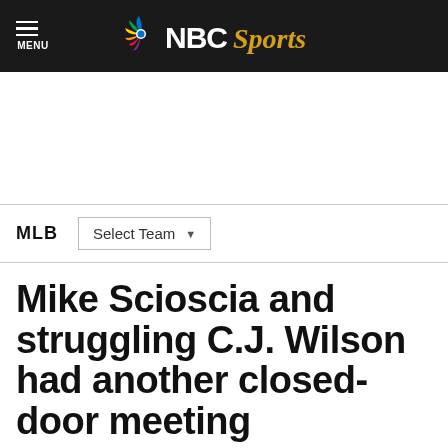NBC Sports — MENU
[Figure (logo): NBC Sports logo with peacock icon and NBC Sports text]
MLB — Select Team
Mike Scioscia and struggling C.J. Wilson had another closed-door meeting
By Aaron Gleeman — Sep 21, 2012, 10:47 AM EDT